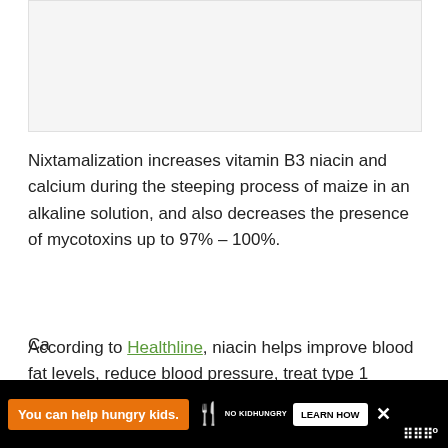[Figure (photo): Placeholder image area at top of page, light gray background]
Nixtamalization increases vitamin B3 niacin and calcium during the steeping process of maize in an alkaline solution, and also decreases the presence of mycotoxins up to 97% – 100%.
According to Healthline, niacin helps improve blood fat levels, reduce blood pressure, treat type 1 diabetes, boost brain function, and protect the skin from sun damage.
Ca... Chips va... benefits
[Figure (infographic): Advertisement banner at bottom: orange background with 'You can help hungry kids.' text, No Kid Hungry logo, Learn How button, and close X button. Black background with partial article text visible.]